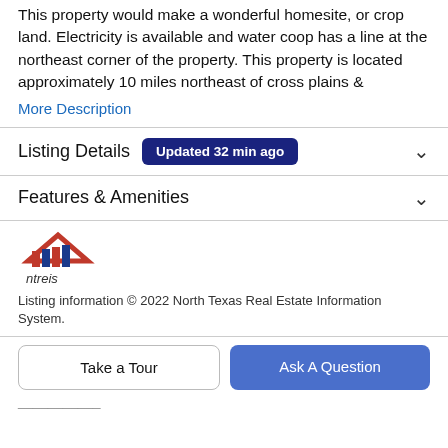This property would make a wonderful homesite, or crop land. Electricity is available and water coop has a line at the northeast corner of the property. This property is located approximately 10 miles northeast of cross plains &
More Description
Listing Details  Updated 32 min ago
Features & Amenities
[Figure (logo): NTREIS logo — house/roof icon with red and blue stripes above the text 'ntreis']
Listing information © 2022 North Texas Real Estate Information System.
Take a Tour
Ask A Question